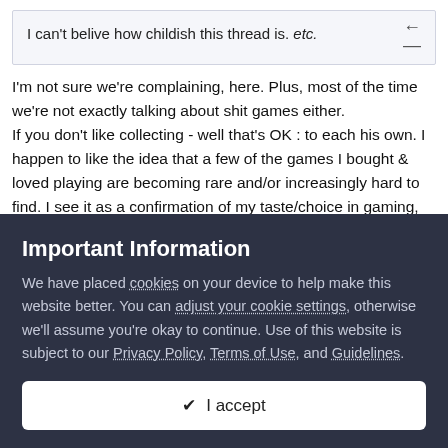I can't belive how childish this thread is. etc.
I'm not sure we're complaining, here. Plus, most of the time we're not exactly talking about shit games either.
If you don't like collecting - well that's OK : to each his own. I happen to like the idea that a few of the games I bought & loved playing are becoming rare and/or increasingly hard to find. I see it as a confirmation of my taste/choice in gaming, and I am sure others do as well. Now tell me, how is that childish?
Important Information
We have placed cookies on your device to help make this website better. You can adjust your cookie settings, otherwise we'll assume you're okay to continue. Use of this website is subject to our Privacy Policy, Terms of Use, and Guidelines.
✔  I accept